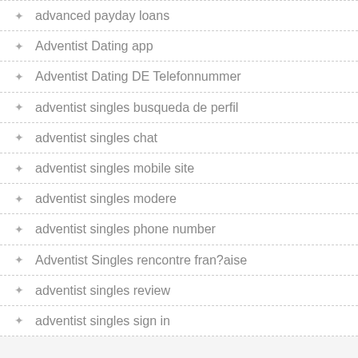advanced payday loans
Adventist Dating app
Adventist Dating DE Telefonnummer
adventist singles busqueda de perfil
adventist singles chat
adventist singles mobile site
adventist singles modere
adventist singles phone number
Adventist Singles rencontre fran?aise
adventist singles review
adventist singles sign in